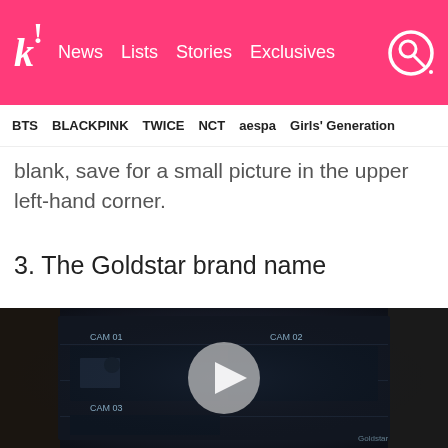k! News  Lists  Stories  Exclusives
BTS  BLACKPINK  TWICE  NCT  aespa  Girls' Generation
blank, save for a small picture in the upper left-hand corner.
3. The Goldstar brand name
[Figure (screenshot): Video thumbnail showing a dark vintage Goldstar monitor/TV set with a play button overlay circle in the center]